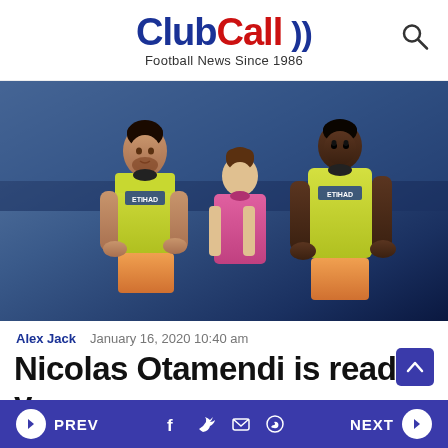ClubCall Football News Since 1986
[Figure (photo): Three Manchester City players in yellow/lime away kits and one in pink goalkeeper kit applauding fans on the pitch]
Alex Jack   January 16, 2020 10:40 am
Nicolas Otamendi is ready
PREV   f   Twitter   Mail   WhatsApp   NEXT